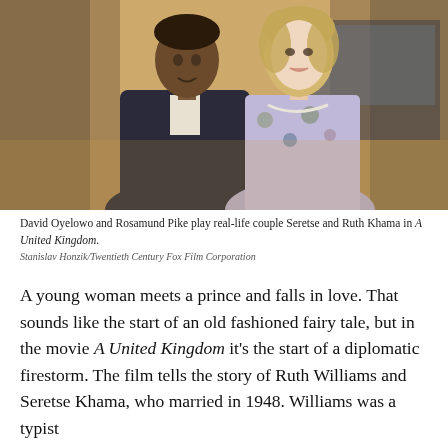[Figure (photo): David Oyelowo and Rosamund Pike posed together. A man in a dark suit stands beside a woman in a floral dress with a pearl necklace, photographed outdoors near what appears to be a train or vehicle.]
David Oyelowo and Rosamund Pike play real-life couple Seretse and Ruth Khama in A United Kingdom.
Stanislav Honzik/Twentieth Century Fox Film Corporation
A young woman meets a prince and falls in love. That sounds like the start of an old fashioned fairy tale, but in the movie A United Kingdom it's the start of a diplomatic firestorm. The film tells the story of Ruth Williams and Seretse Khama, who married in 1948. Williams was a typist